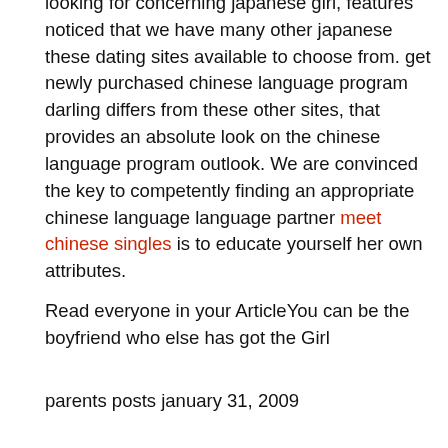looking for concerning japanese girl, features noticed that we have many other japanese these dating sites available to choose from. get newly purchased chinese language program darling differs from these other sites, that provides an absolute look on the chinese language program outlook. We are convinced the key to competently finding an appropriate chinese language language partner meet chinese singles is to educate yourself her own attributes.
Read everyone in your ArticleYou can be the boyfriend who else has got the Girl
parents posts january 31, 2009